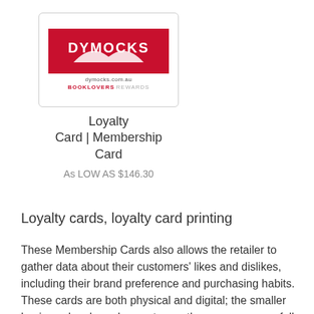[Figure (photo): Dymocks Booklovers Rewards loyalty card image — white card with red Dymocks logo and open book graphic, showing dymocks.com.au and BOOKLOVERS REWARDS text]
Loyalty Card | Membership Card
As LOW AS $146.30
Loyalty cards, loyalty card printing
These Membership Cards also allows the retailer to gather data about their customers' likes and dislikes, including their brand preference and purchasing habits. These cards are both physical and digital; the smaller business has been known to use them very successfully against chain stores entrance into the marketplace. At Budget Print Plus, we have a network of trade printing hubs across the country, meaning we can get the job